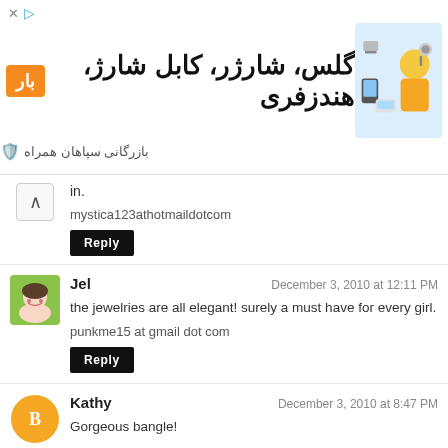[Figure (infographic): Advertisement banner in Farsi for گلس، شارژر، کابل شارژ، هندزفری (glasses, chargers, cables, headphones) with an orange badge label, product image on right, and brand name بازرگانی سپاهان همراه]
in.
mystica123athotmaildotcom
Reply
[Figure (photo): Avatar photo of Jel commenter - young person with hands on face, green background]
Jel
December 3, 2010 at 12:11 PM
the jewelries are all elegant! surely a must have for every girl.
punkme15 at gmail dot com
Reply
[Figure (logo): Orange circle blogger avatar icon with white B logo]
Kathy
December 3, 2010 at 8:47 PM
Gorgeous bangle!